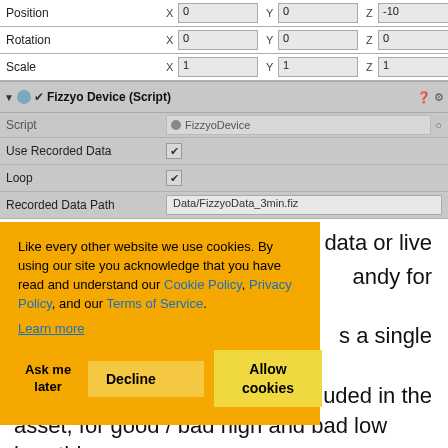[Figure (screenshot): Unity Inspector panel showing Transform component with Position (X:0, Y:0, Z:-10), Rotation (X:0, Y:0, Z:0), Scale (X:1, Y:1, Z:1), and Fizzyo Device (Script) component with Script: FizzyoDevice, Use Recorded Data: checked, Loop: checked, Recorded Data Path: Data/FizzyoData_3min.fiz]
Like every other website we use cookies. By using our site you acknowledge that you have read and understand our Cookie Policy, Privacy Policy, and our Terms of Service. Learn more
ded data or live andy for
s a single
uded in the asset, for good / bad high and bad low breathing